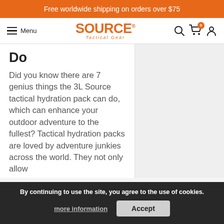Free worldwide shipping on orders over $75
[Figure (logo): Source Tactical Gear logo with hamburger menu and navigation icons]
Do
Did you know there are 7 genius things the 3L Source tactical hydration pack can do, which can enhance your outdoor adventure to the fullest? Tactical hydration packs are loved by adventure junkies across the world. They not only allow
Read more →
By continuing to use the site, you agree to the use of cookies. more information | Accept